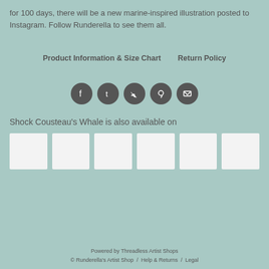for 100 days, there will be a new marine-inspired illustration posted to Instagram. Follow Runderella to see them all.
Product Information & Size Chart    Return Policy
[Figure (infographic): Row of five social media icon circles (Facebook, Tumblr, Twitter, Pinterest, Email) in dark gray on teal background]
Shock Cousteau's Whale is also available on
[Figure (infographic): Six white square thumbnail placeholders in a horizontal row]
Powered by Threadless Artist Shops
© Runderella's Artist Shop  /  Help & Returns  /  Legal